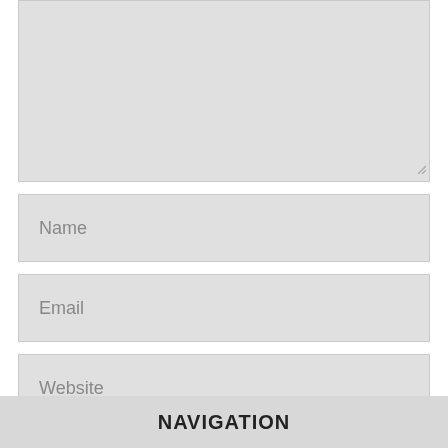[Figure (screenshot): A large textarea input field with a resize handle at the bottom right, shown with a light gray background]
Name
Email
Website
[Figure (screenshot): A checkbox (unchecked) on its own row]
[Figure (screenshot): reCAPTCHA widget with checkbox and 'I'm not a robot' text and reCAPTCHA logo]
NAVIGATION